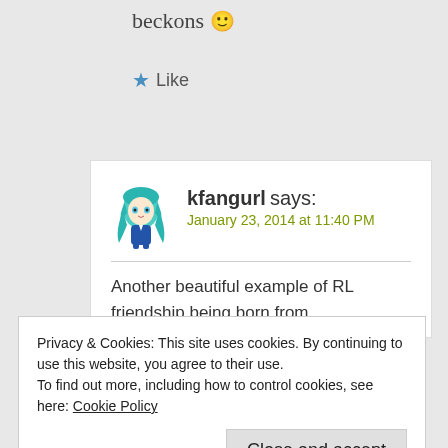beckons 🙂
★ Like
kfangurl says: January 23, 2014 at 11:40 PM
Another beautiful example of RL friendship being born from
Privacy & Cookies: This site uses cookies. By continuing to use this website, you agree to their use. To find out more, including how to control cookies, see here: Cookie Policy
Close and accept
goodies our blogging